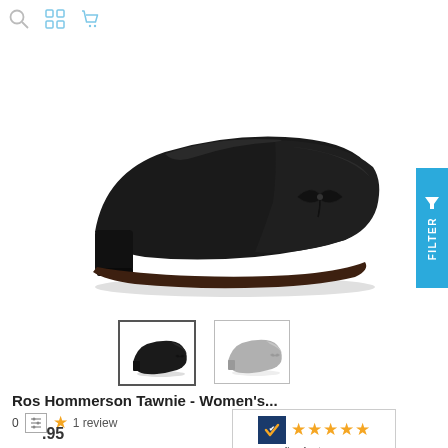[Figure (screenshot): Navigation icons: search (magnifier), grid/sliders, shopping cart in light gray/blue at top left]
[Figure (photo): Black women's ballet flat shoe (Ros Hommerson Tawnie) with small bow at toe, patent leather toe cap, small block heel, photographed on white background]
[Figure (photo): Two thumbnail images of the shoe: left thumbnail shows black version (active/selected with border), right thumbnail shows gray version]
[Figure (other): Blue FILTER button tab on right edge with funnel icon]
Ros Hommerson Tawnie - Women's...
0  ★ 1 review  .95
[Figure (other): Flowfeet.com badge with navy checkmark logo, 5 orange stars, and flowfeet.com label]